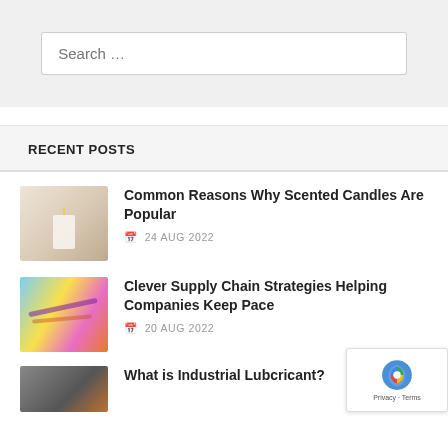Search …
RECENT POSTS
Common Reasons Why Scented Candles Are Popular
24 AUG 2022
Clever Supply Chain Strategies Helping Companies Keep Pace
20 AUG 2022
What is Industrial Lubcricant?